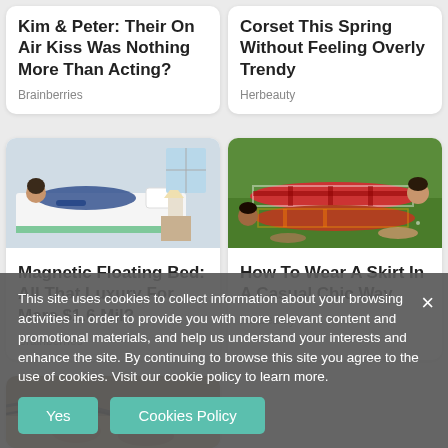Kim & Peter: Their On Air Kiss Was Nothing More Than Acting?
Brainberries
Corset This Spring Without Feeling Overly Trendy
Herbeauty
[Figure (photo): Woman lying on a bed reading or using phone in a bright room]
Magnetic Floating Bed: All That Luxury For Mere $1.6 Mil?
Brainberries
[Figure (photo): Couple lying on grass in plaid clothing]
How To Wear A Skirt In A Casual Chic Way
Herbeauty
[Figure (photo): Close up of feet/legs partially visible at bottom]
This site uses cookies to collect information about your browsing activities in order to provide you with more relevant content and promotional materials, and help us understand your interests and enhance the site. By continuing to browse this site you agree to the use of cookies. Visit our cookie policy to learn more.